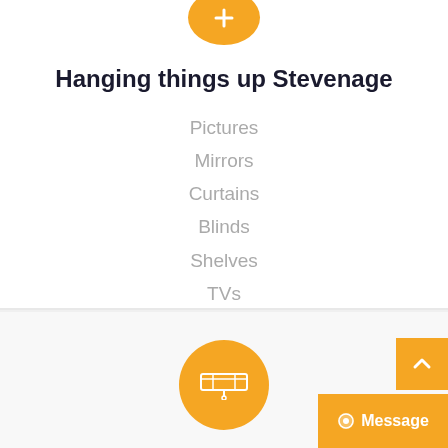[Figure (illustration): Orange circle icon at the top of the card]
Hanging things up Stevenage
Pictures
Mirrors
Curtains
Blinds
Shelves
TVs
[Figure (illustration): Orange circle with a shelf/bracket icon in the bottom section]
[Figure (illustration): Orange scroll-to-top button with upward chevron]
[Figure (illustration): Orange Message button with chat bubble icon]